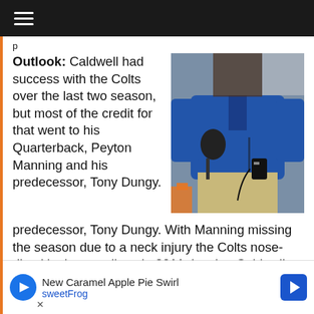Navigation menu bar (hamburger icon)
Outlook: Caldwell had success with the Colts over the last two season, but most of the credit for that went to his Quarterback, Peyton Manning and his predecessor, Tony Dungy. With Manning missing the season due to a neck injury the Colts nose-dived in the standings in 2011, leaving Caldwell the target of most of the criticism. While two late wins kept the Colts from finishing the season winless, the team looked like it had given up for most of the season ...ll's tenure
[Figure (photo): A person wearing a blue NFL jacket and khaki pants holding a headset and communication device on a sideline, with orange pylons visible in the background.]